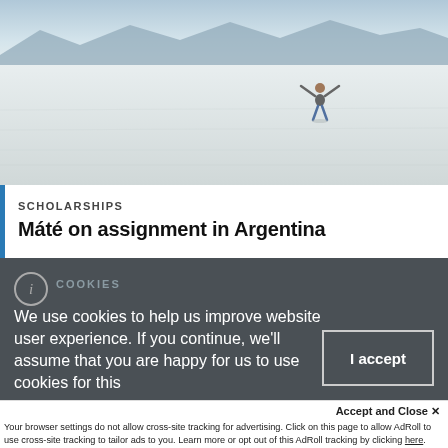[Figure (photo): Person standing on a vast white salt flat with arms raised, mountains visible in background under blue sky]
SCHOLARSHIPS
Máté on assignment in Argentina
COOKIES
We use cookies to help us improve website user experience. If you continue, we'll assume that you are happy for us to use cookies for this
I accept
Accept and Close ✕
Your browser settings do not allow cross-site tracking for advertising. Click on this page to allow AdRoll to use cross-site tracking to tailor ads to you. Learn more or opt out of this AdRoll tracking by clicking here. This message only appears once.